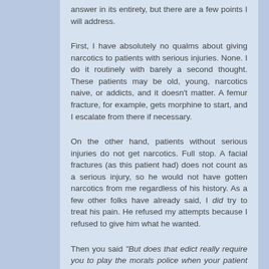answer in its entirety, but there are a few points I will address.
First, I have absolutely no qualms about giving narcotics to patients with serious injuries. None. I do it routinely with barely a second thought. These patients may be old, young, narcotics naive, or addicts, and it doesn't matter. A femur fracture, for example, gets morphine to start, and I escalate from there if necessary.
On the other hand, patients without serious injuries do not get narcotics. Full stop. A facial fractures (as this patient had) does not count as a serious injury, so he would not have gotten narcotics from me regardless of his history. As a few other folks have already said, I did try to treat his pain. He refused my attempts because I refused to give him what he wanted.
Then you said "But does that edict really require you to play the morals police when your patient has a drug habit? You're not a social worker or